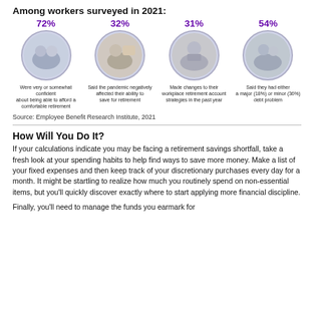Among workers surveyed in 2021:
[Figure (infographic): Four circular photo statistics: 72% Were very or somewhat confident about being able to afford a comfortable retirement; 32% Said the pandemic negatively affected their ability to save for retirement; 31% Made changes to their workplace retirement account strategies in the past year; 54% Said they had either a major (18%) or minor (36%) debt problem]
Source: Employee Benefit Research Institute, 2021
How Will You Do It?
If your calculations indicate you may be facing a retirement savings shortfall, take a fresh look at your spending habits to help find ways to save more money. Make a list of your fixed expenses and then keep track of your discretionary purchases every day for a month. It might be startling to realize how much you routinely spend on non-essential items, but you'll quickly discover exactly where to start applying more financial discipline.
Finally, you'll need to manage the funds you earmark for